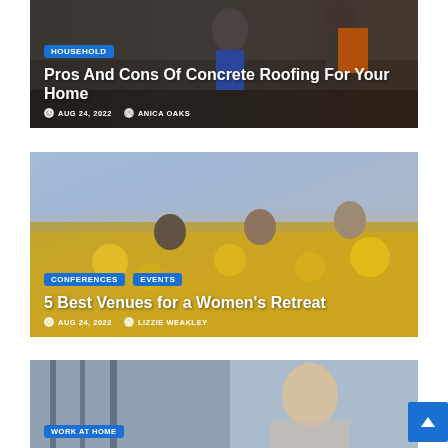[Figure (photo): Two roofing workers on a dark rooftop, one wearing an orange safety vest. Background shows cityscape.]
HOUSEHOLD
Pros And Cons Of Concrete Roofing For Your Home
AUG 24, 2022  ANICA OAKS
[Figure (photo): Three women laughing in a sunflower field under a clear sky.]
CONFERENCES  EVENTS
5 Best Venues for a Women's Retreat
AUG 24, 2022  LIZZIE WEAKLEY
[Figure (photo): Blonde woman working from home, blurred background with trees.]
WORK AT HOME